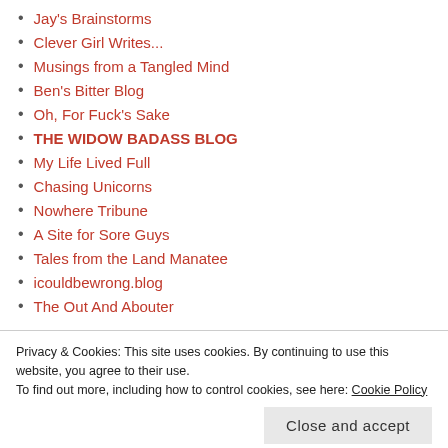Jay's Brainstorms
Clever Girl Writes...
Musings from a Tangled Mind
Ben's Bitter Blog
Oh, For Fuck's Sake
THE WIDOW BADASS BLOG
My Life Lived Full
Chasing Unicorns
Nowhere Tribune
A Site for Sore Guys
Tales from the Land Manatee
icouldbewrong.blog
The Out And Abouter
BULLSHIT ON TWITTER
Privacy & Cookies: This site uses cookies. By continuing to use this website, you agree to their use.
To find out more, including how to control cookies, see here: Cookie Policy
Close and accept